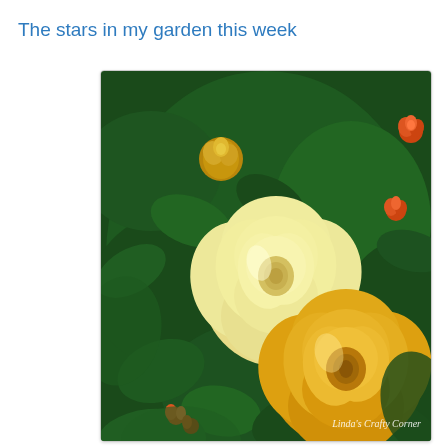The stars in my garden this week
[Figure (photo): Photograph of yellow roses blooming among dark green foliage. Two prominent yellow roses are in full bloom — one lighter yellow rose in the upper-center area and one deeper golden-yellow rose in the lower-right area. Smaller orange-red buds and flowers are visible in the background. A watermark reading 'Linda's Crafty Corner' appears in the lower-right corner of the image.]